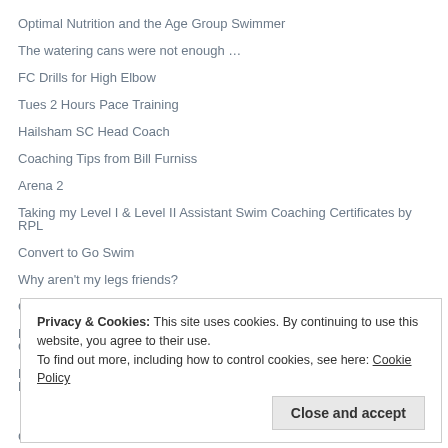Optimal Nutrition and the Age Group Swimmer
The watering cans were not enough …
FC Drills for High Elbow
Tues 2 Hours Pace Training
Hailsham SC Head Coach
Coaching Tips from Bill Furniss
Arena 2
Taking my Level I & Level II Assistant Swim Coaching Certificates by RPL
Convert to Go Swim
Why aren't my legs friends?
GoSwim FC
Masters Thursday 18 Jan 2018 MASTERS B COACH & POOLSIDE COPY
Masters Thursday 18 Jan 2018 MASTERS COMPETITIVE A COACH & POOLSIDE COPY
Privacy & Cookies: This site uses cookies. By continuing to use this website, you agree to their use.
To find out more, including how to control cookies, see here: Cookie Policy
Close and accept
COPY